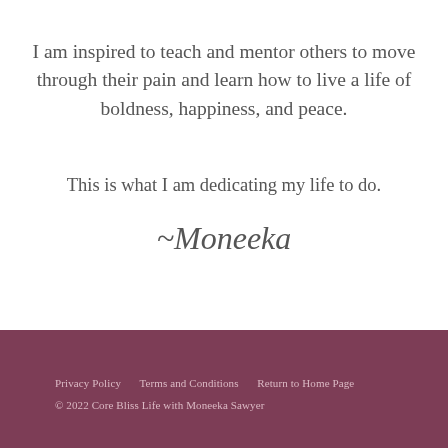I am inspired to teach and mentor others to move through their pain and learn how to live a life of boldness, happiness, and peace.
This is what I am dedicating my life to do.
~Moneeka
Privacy Policy   Terms and Conditions   Return to Home Page
© 2022 Core Bliss Life with Moneeka Sawyer